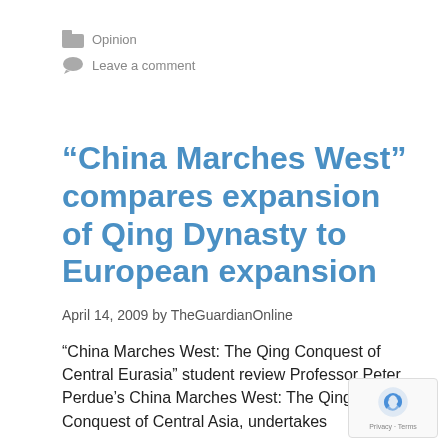📁 Opinion
💬 Leave a comment
“China Marches West” compares expansion of Qing Dynasty to European expansion
April 14, 2009 by TheGuardianOnline
“China Marches West: The Qing Conquest of Central Eurasia” student review Professor Peter Perdue’s China Marches West: The Qing Conquest of Central Asia, undertakes